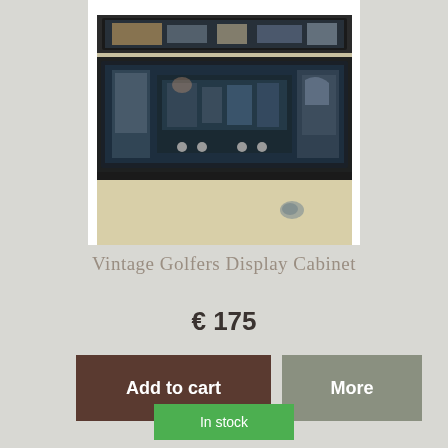[Figure (photo): A vintage display cabinet with glass front showing golfer figurines and memorabilia inside, photographed on a cream/beige surface. The cabinet has a dark frame with decorative elements visible through the glass.]
Vintage Golfers Display Cabinet
€ 175
Add to cart
More
In stock